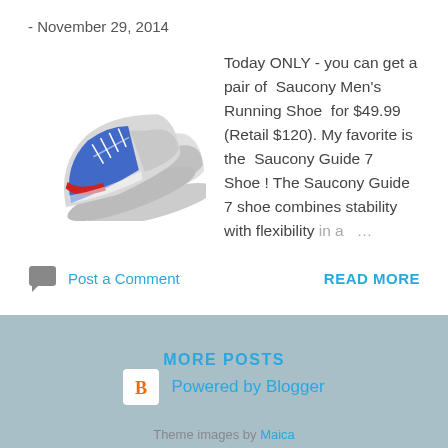- November 29, 2014
[Figure (photo): A pair of Saucony running shoes (blue, gray, red) displayed on white background]
Today ONLY - you can get a pair of Saucony Men's Running Shoe for $49.99 (Retail $120). My favorite is the Saucony Guide 7 Shoe ! The Saucony Guide 7 shoe combines stability with flexibility in a ...
Post a Comment
READ MORE
MORE POSTS
Powered by Blogger
Theme images by Maica